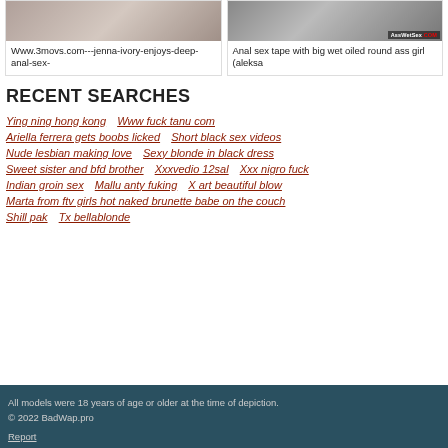[Figure (photo): Two thumbnail video cards side by side. Left: video thumbnail with text 'Www.3movs.com---jenna-ivory-enjoys-deep-anal-sex-'. Right: video thumbnail with AssWetSex.com badge and text 'Anal sex tape with big wet oiled round ass girl (aleksa'.]
RECENT SEARCHES
Ying ning hong kong    Www fuck tanu com
Ariella ferrera gets boobs licked    Short black sex videos
Nude lesbian making love    Sexy blonde in black dress
Sweet sister and bfd brother    Xxxvedio 12sal    Xxx nigro fuck
Indian groin sex    Mallu anty fuking    X art beautiful blow
Marta from ftv girls hot naked brunette babe on the couch
Shill pak    Tx bellablonde
All models were 18 years of age or older at the time of depiction.
© 2022 BadWap.pro
Report